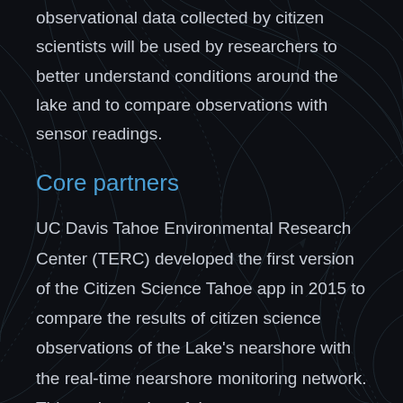observational data collected by citizen scientists will be used by researchers to better understand conditions around the lake and to compare observations with sensor readings.
Core partners
UC Davis Tahoe Environmental Research Center (TERC) developed the first version of the Citizen Science Tahoe app in 2015 to compare the results of citizen science observations of the Lake's nearshore with the real-time nearshore monitoring network. This early version of the app was developed using grant funding from the Institute of Museum and